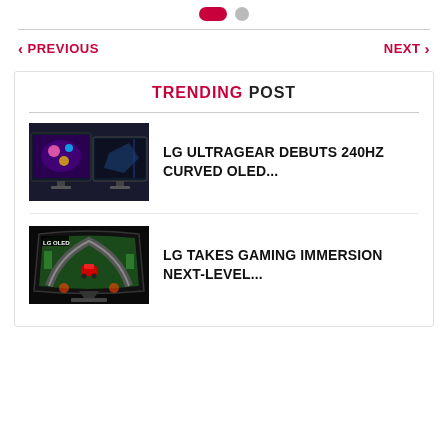[Figure (other): Pagination indicators: one active pill (crimson) and one inactive circle (gray)]
< PREVIOUS
NEXT >
TRENDING POST
[Figure (photo): Two LG UltraGear curved OLED gaming monitors side by side]
LG ULTRAGEAR DEBUTS 240HZ CURVED OLED...
[Figure (photo): LG OLED curved gaming monitor showing racing car game]
LG TAKES GAMING IMMERSION NEXT-LEVEL...